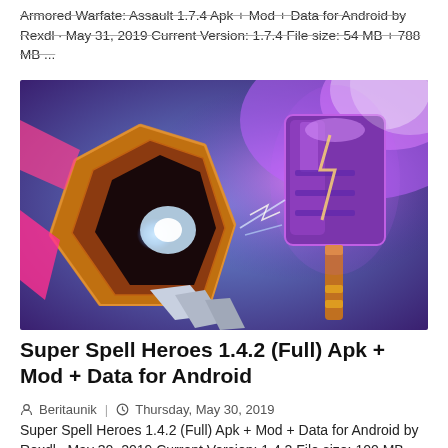Armored Warfate: Assault 1.7.4 Apk + Mod + Data for Android by Rexdl · May 31, 2019 Current Version: 1.7.4 File size: 54 MB + 788 MB ...
[Figure (illustration): Game artwork showing colorful fantasy/action scene with a glowing shield or portal made of orange and red stone on the left and a large pink/purple magical hammer on the right, against a blue and purple background]
Super Spell Heroes 1.4.2 (Full) Apk + Mod + Data for Android
Beritaunik | Thursday, May 30, 2019
Super Spell Heroes 1.4.2 (Full) Apk + Mod + Data for Android by Rexdl · May 30, 2019 Current Version: 1.4.2 File size: 100 MB ...